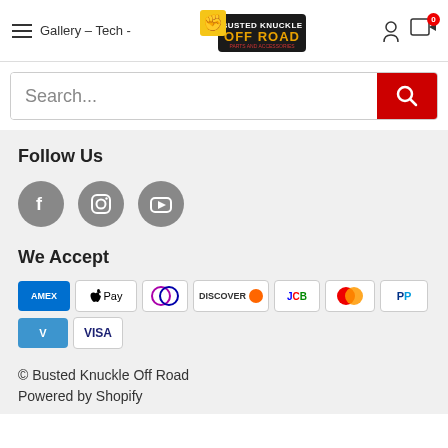Gallery – Tech - Busted Knuckle Off Road
[Figure (logo): Busted Knuckle Off Road logo with fist and text]
Search...
Follow Us
[Figure (illustration): Social media icons: Facebook, Instagram, YouTube]
We Accept
[Figure (illustration): Payment method icons: Amex, Apple Pay, Diners Club, Discover, JCB, Mastercard, PayPal, Venmo, Visa]
© Busted Knuckle Off Road
Powered by Shopify